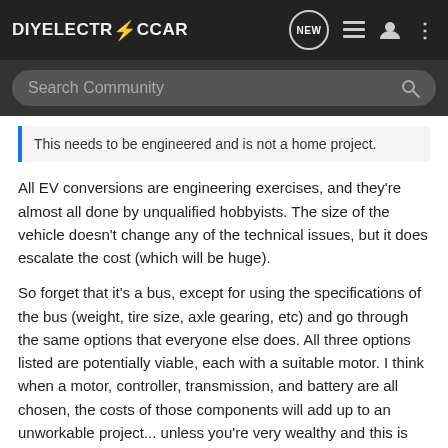DIYELECTRICCAR
This needs to be engineered and is not a home project.
All EV conversions are engineering exercises, and they're almost all done by unqualified hobbyists. The size of the vehicle doesn't change any of the technical issues, but it does escalate the cost (which will be huge).
So forget that it's a bus, except for using the specifications of the bus (weight, tire size, axle gearing, etc) and go through the same options that everyone else does. All three options listed are potentially viable, each with a suitable motor. I think when a motor, controller, transmission, and battery are all chosen, the costs of those components will add up to an unworkable project... unless you're very wealthy and this is where you choose to throw away your money.